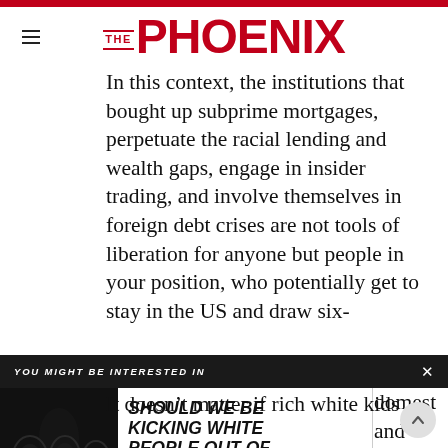THE PHOENIX
In this context, the institutions that bought up subprime mortgages, perpetuate the racial lending and wealth gaps, engage in insider trading, and involve themselves in foreign debt crises are not tools of liberation for anyone but people in your position, who potentially get to stay in the US and draw six-
nderstand if u have to take, derstand and institutions still domestically and
YOU MIGHT BE INTERESTED IN
[Figure (photo): Dark archway interior photograph]
SHOULD WE BE KICKING WHITE PEOPLE OUT OF PARTIES?
It doesn't matter if rich white kids